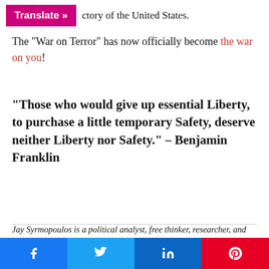Translate » …ctory of the United States.
The "War on Terror" has now officially become the war on you!
"Those who would give up essential Liberty, to purchase a little temporary Safety, deserve neither Liberty nor Safety." – Benjamin Franklin
Jay Syrmopoulos is a political analyst, free thinker, researcher, and ardent opponent of authoritarianism. He is currently a graduate student at University of Denver pursuing a masters in Global Affairs. Jay's work has been published on Ben Swann's Truth in Media, Truth-Out, Raw Story, MintPress News, as well as many other sites.
Share buttons: Facebook, Twitter, LinkedIn, Pinterest